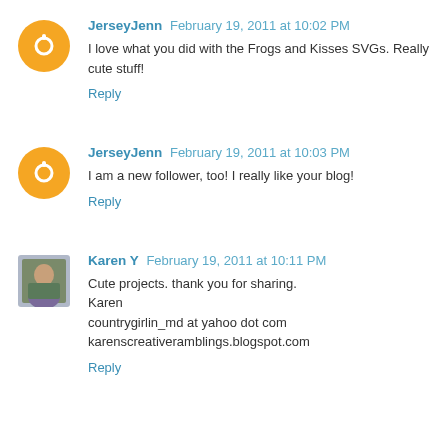JerseyJenn February 19, 2011 at 10:02 PM
I love what you did with the Frogs and Kisses SVGs. Really cute stuff!
Reply
JerseyJenn February 19, 2011 at 10:03 PM
I am a new follower, too! I really like your blog!
Reply
Karen Y February 19, 2011 at 10:11 PM
Cute projects. thank you for sharing.
Karen
countrygirlin_md at yahoo dot com
karenscreativeramblings.blogspot.com
Reply